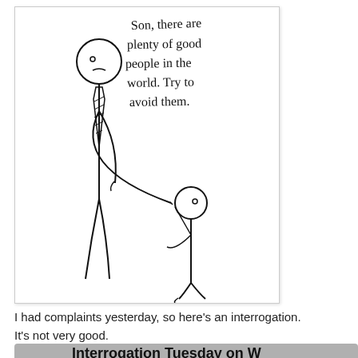[Figure (illustration): Stick figure comic showing a tall adult figure wearing a tie holding the hand of a smaller child figure. Handwritten text above reads: 'Son, there are plenty of good people in the world. Try to avoid them.']
I had complaints yesterday, so here's an interrogation. It's not very good.
Interrogation Tuesday on W